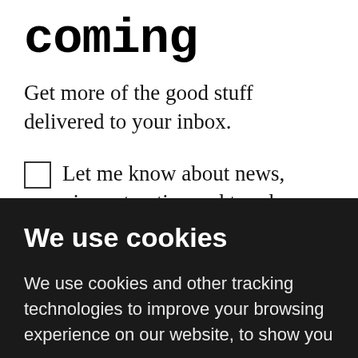coming
Get more of the good stuff delivered to your inbox.
Let me know about news, views, top tips and trends
We use cookies
We use cookies and other tracking technologies to improve your browsing experience on our website, to show you